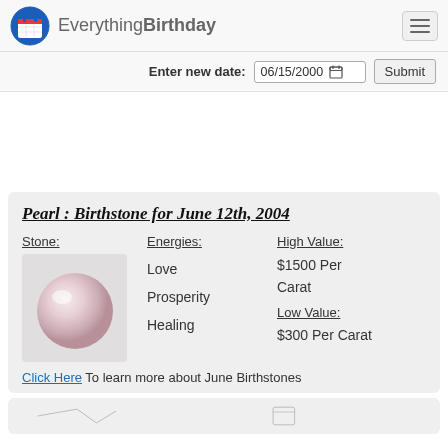EverythingBirthday
Enter new date: 06/15/2000  Submit
Pearl : Birthstone for June 12th, 2004
Stone:
Energies:
High Value:
Love
$1500 Per Carat
Prosperity
Healing
Low Value:
$300 Per Carat
Click Here To learn more about June Birthstones